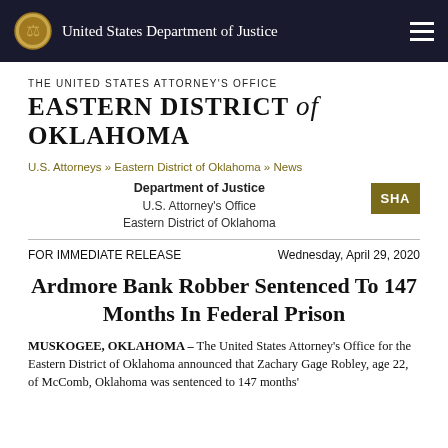United States Department of Justice
THE UNITED STATES ATTORNEY'S OFFICE EASTERN DISTRICT of OKLAHOMA
U.S. Attorneys » Eastern District of Oklahoma » News
Department of Justice
U.S. Attorney's Office
Eastern District of Oklahoma
FOR IMMEDIATE RELEASE
Wednesday, April 29, 2020
Ardmore Bank Robber Sentenced To 147 Months In Federal Prison
MUSKOGEE, OKLAHOMA – The United States Attorney's Office for the Eastern District of Oklahoma announced that Zachary Gage Robley, age 22, of McComb, Oklahoma was sentenced to 147 months'